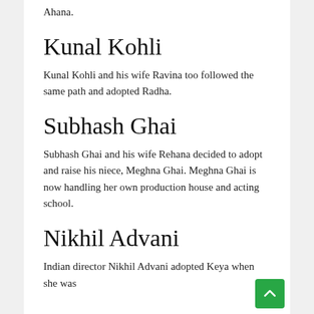Ahana.
Kunal Kohli
Kunal Kohli and his wife Ravina too followed the same path and adopted Radha.
Subhash Ghai
Subhash Ghai and his wife Rehana decided to adopt and raise his niece, Meghna Ghai. Meghna Ghai is now handling her own production house and acting school.
Nikhil Advani
Indian director Nikhil Advani adopted Keya when she was